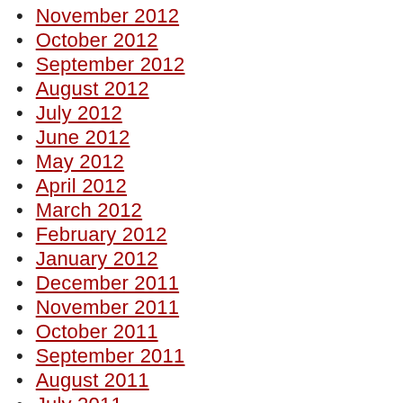November 2012
October 2012
September 2012
August 2012
July 2012
June 2012
May 2012
April 2012
March 2012
February 2012
January 2012
December 2011
November 2011
October 2011
September 2011
August 2011
July 2011